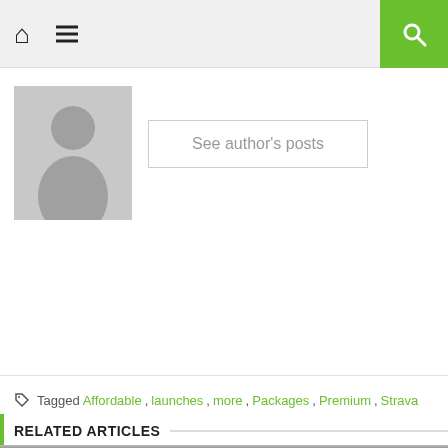[Figure (screenshot): Website navigation bar with home icon, hamburger menu icon, and green search button on the right]
[Figure (illustration): Generic grey author avatar/silhouette placeholder image]
See author's posts
Tagged Affordable, launches, more, Packages, Premium, Strava
RELATED ARTICLES
[Figure (photo): Photo of Pfizer logo sign (metallic oval with Pfizer text) with a blurred person in foreground wearing a dark cap]